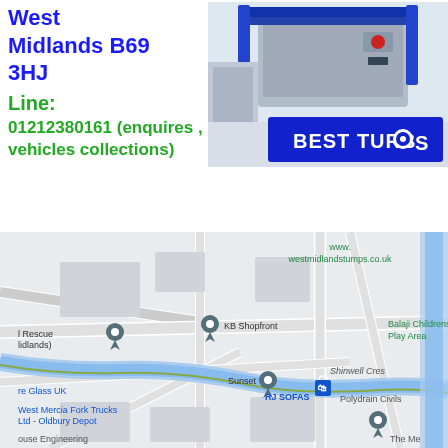West Midlands B69 3HJ
Line:
01212380161 (enquires , vehicles collections)
[Figure (photo): Workshop/lab equipment photo with 'BEST TURBOS' logo overlay in blue and white]
[Figure (map): Google Maps screenshot showing area around Oldbury, West Midlands with labels: www.westmidlandstumps.co.uk, KB Shopfront, l Rescue lidlands), Balaji Childrens Play Area, Sunset, Shinwell Cres, re Glass UK, RJ SOFAS, Polydrain Civils, West Mercia Fork Trucks Ltd - Oldbury Depot, ouse Engineering, The Me]